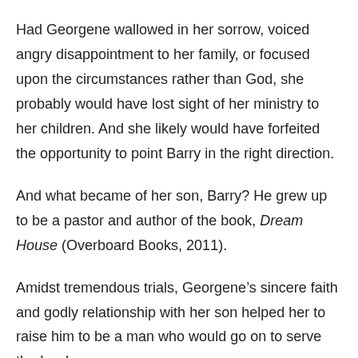Had Georgene wallowed in her sorrow, voiced angry disappointment to her family, or focused upon the circumstances rather than God, she probably would have lost sight of her ministry to her children. And she likely would have forfeited the opportunity to point Barry in the right direction.
And what became of her son, Barry? He grew up to be a pastor and author of the book, Dream House (Overboard Books, 2011).
Amidst tremendous trials, Georgene’s sincere faith and godly relationship with her son helped her to raise him to be a man who would go on to serve the Lord.
Just as Barry could trust his mother’s advice because she lived the message she taught, so you will earn the confidence of your son